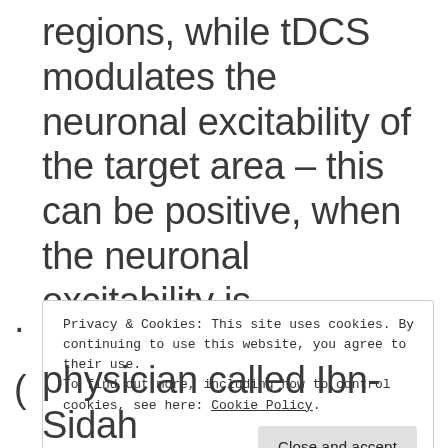regions, while tDCS modulates the neuronal excitability of the target area – this can be positive, when the neuronal excitability is increased, or negative, when the neuronal excitability is decreased. [i].
Privacy & Cookies: This site uses cookies. By continuing to use this website, you agree to their use. To find out more, including how to control cookies, see here: Cookie Policy.
physician called Ibn-Sidah